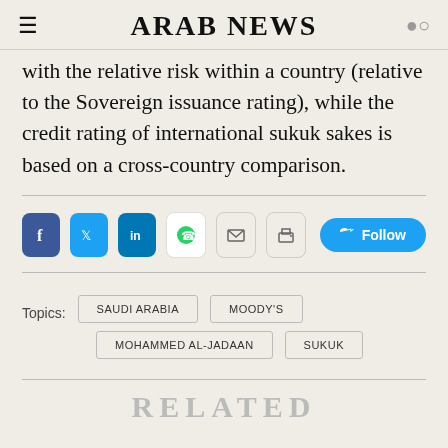ARAB NEWS
with the relative risk within a country (relative to the Sovereign issuance rating), while the credit rating of international sukuk sakes is based on a cross-country comparison.
Topics: SAUDI ARABIA   MOODY'S   MOHAMMED AL-JADAAN   SUKUK
RELATED